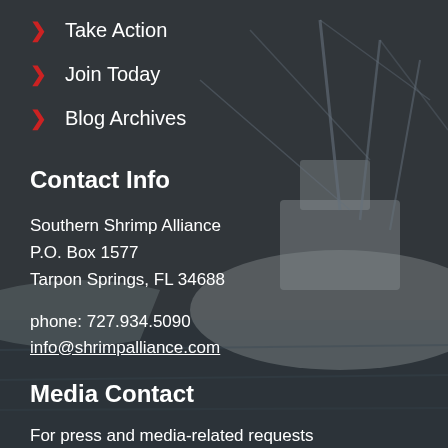Take Action
Join Today
Blog Archives
Contact Info
Southern Shrimp Alliance
P.O. Box 1577
Tarpon Springs, FL 34688
phone: 727.934.5090
info@shrimpalliance.com
Media Contact
For press and media-related requests